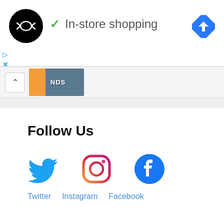[Figure (logo): Black circle logo with two overlapping infinity/arrow symbols in white]
✓ In-store shopping
[Figure (other): Blue diamond navigation/directions icon in top right]
[Figure (other): Ad controls with play and close (X) icons in blue]
[Figure (other): Collapsed panel with chevron up button and thumbnail image with text NDS]
Follow Us
[Figure (other): Twitter bird icon in blue, Instagram camera icon in pink/red gradient, Facebook circle icon in blue]
Twitter  Instagram  Facebook